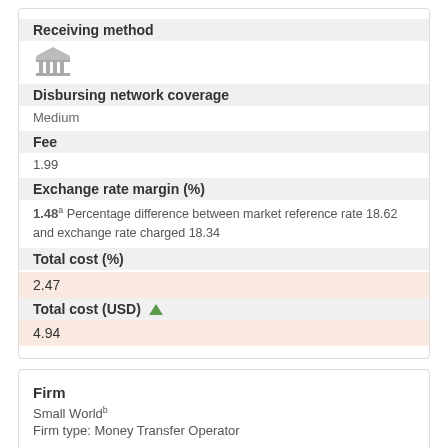Receiving method
[Figure (illustration): Bank/institution icon (pillared building)]
Disbursing network coverage
Medium
Fee
1.99
Exchange rate margin (%)
1.48 Percentage difference between market reference rate 18.62 and exchange rate charged 18.34
Total cost (%)
2.47
Total cost (USD)
4.94
Firm
Small World
Firm type: Money Transfer Operator
Payment instrument
[Figure (illustration): Payment instrument icons: bank, credit card, debit card]
Access point